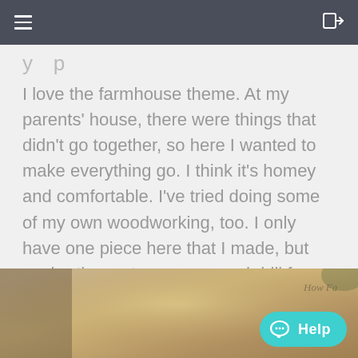y p
I love the farmhouse theme. At my parents' house, there were things that didn't go together, so here I wanted to make everything go. I think it's homey and comfortable. I've tried doing some of my own woodworking, too. I only have one piece here that I made, but my brother got me a saw and drill for Christmas so I can make more.
[Figure (photo): Bottom photo strip showing a warm tan/brown interior scene with partial text overlay reading 'How Fa...' and a teal Help chat button in the lower right corner.]